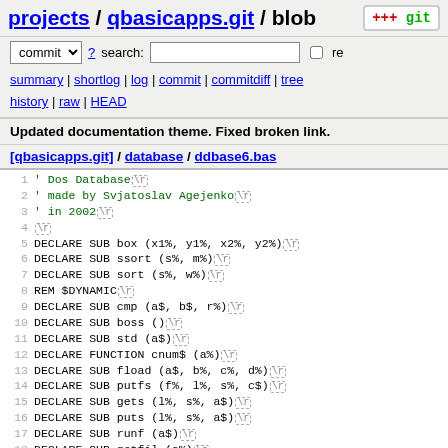projects / qbasicapps.git / blob
commit ? search: re
summary | shortlog | log | commit | commitdiff | tree history | raw | HEAD
Updated documentation theme. Fixed broken link.
[qbasicapps.git] / database / ddbase6.bas
1  ' Dos Database \r
2  ' made by Svjatoslav Agejenko \r
3  ' in 2002 \r
4  \r
5  DECLARE SUB box (x1%, y1%, x2%, y2%) \r
6  DECLARE SUB ssort (s%, m%) \r
7  DECLARE SUB sort (s%, w%) \r
8  REM $DYNAMIC \r
9  DECLARE SUB cmp (a$, b$, r%) \r
10 DECLARE SUB boss () \r
11 DECLARE SUB std (a$) \r
12 DECLARE FUNCTION cnum$ (a%) \r
13 DECLARE SUB fload (a$, b%, c%, d%) \r
14 DECLARE SUB putfs (f%, l%, s%, c$) \r
15 DECLARE SUB gets (l%, s%, a$) \r
16 DECLARE SUB puts (l%, s%, a$) \r
17 DECLARE SUB runf (a$) \r
18 DECLARE SUB getfil (a%) \r
19 DEFINT A-Y \r